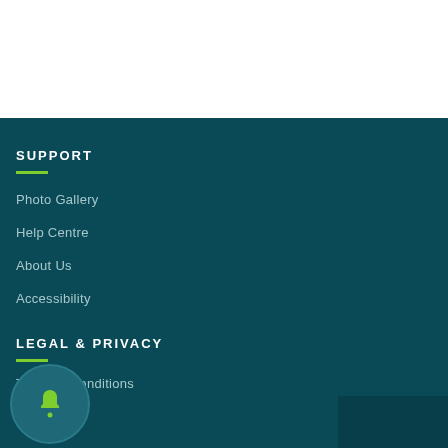SUPPORT
Photo Gallery
Help Centre
About Us
Accessibility
LEGAL & PRIVACY
Terms & Conditions